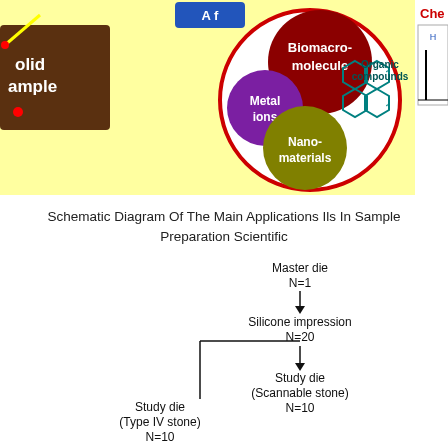[Figure (infographic): Schematic diagram showing ILs applications in sample preparation: a circle with colored spheres labeled Biomacromolecule (dark red), Metal ions (purple), Nanomaterials (olive/yellow-green), and Organic compounds (teal hexagons). Left side shows dark brown box labeled Solid Sample with yellow arrow and red dot. Right side partially visible shows 'Che' label and a chromatogram graph.]
Schematic Diagram Of The Main Applications Ils In Sample Preparation Scientific
[Figure (flowchart): Flowchart showing: Master die N=1 → Silicone impression N=20 → Study die (Scannable stone) N=10. Left branch from Silicone impression line: Study die (Type IV stone) N=10]